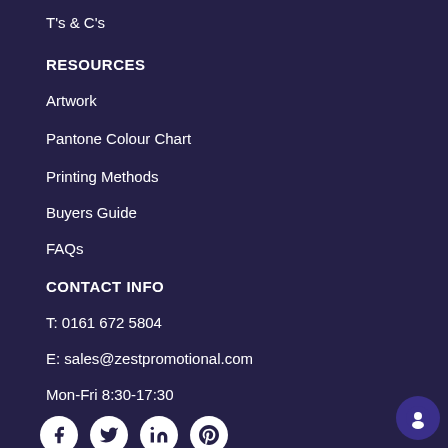T's & C's
RESOURCES
Artwork
Pantone Colour Chart
Printing Methods
Buyers Guide
FAQs
CONTACT INFO
T: 0161 672 5804
E: sales@zestpromotional.com
Mon-Fri 8:30-17:30
[Figure (other): Social media icons: Facebook, Twitter, LinkedIn, Pinterest (white circles on dark background)]
[Figure (other): Payment method icons: VISA, MasterCard, Maestro, PayPal]